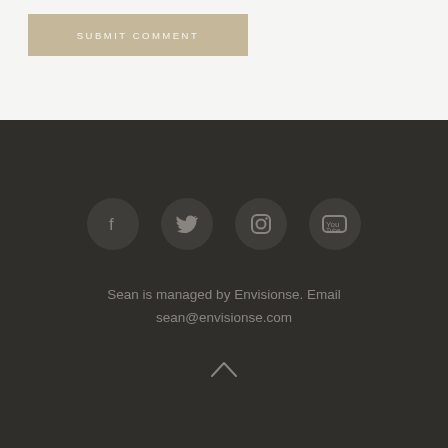SUBMIT COMMENT
[Figure (illustration): Four circular social media icons for Facebook, Twitter, Instagram, and YouTube on dark background]
Sean is managed by Envisionse. Email sean@envisionse.com